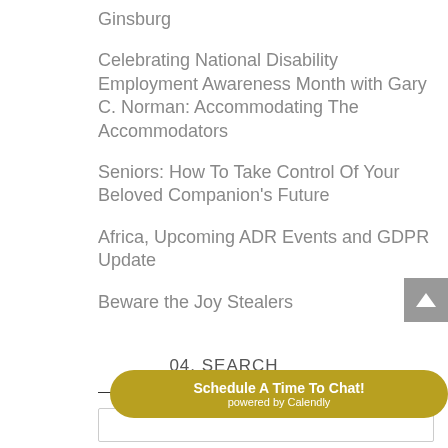Ginsburg
Celebrating National Disability Employment Awareness Month with Gary C. Norman: Accommodating The Accommodators
Seniors: How To Take Control Of Your Beloved Companion's Future
Africa, Upcoming ADR Events and GDPR Update
Beware the Joy Stealers
04. SEARCH